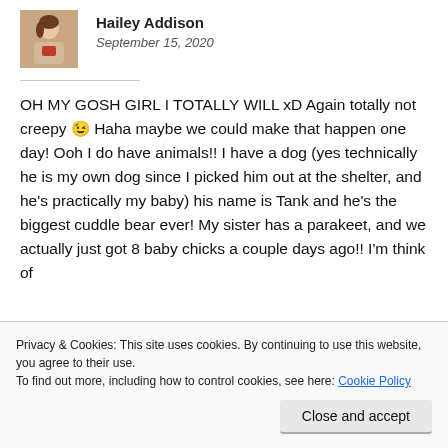[Figure (photo): Author profile photo of Hailey Addison — a young woman in a light-colored top, sitting with what appears to be a red item]
Hailey Addison
September 15, 2020
OH MY GOSH GIRL I TOTALLY WILL xD Again totally not creepy 😉 Haha maybe we could make that happen one day! Ooh I do have animals!! I have a dog (yes technically he is my own dog since I picked him out at the shelter, and he's practically my baby) his name is Tank and he's the biggest cuddle bear ever! My sister has a parakeet, and we actually just got 8 baby chicks a couple days ago!! I'm think of
Privacy & Cookies: This site uses cookies. By continuing to use this website, you agree to their use.
To find out more, including how to control cookies, see here: Cookie Policy
Close and accept